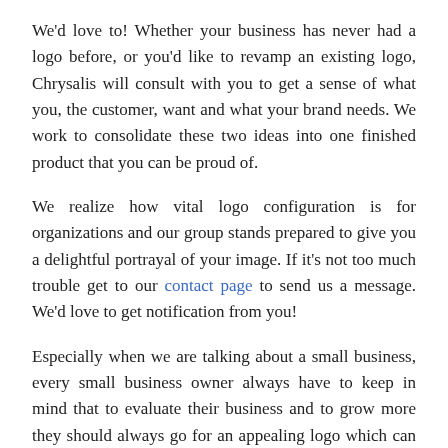We'd love to! Whether your business has never had a logo before, or you'd like to revamp an existing logo, Chrysalis will consult with you to get a sense of what you, the customer, want and what your brand needs. We work to consolidate these two ideas into one finished product that you can be proud of.
We realize how vital logo configuration is for organizations and our group stands prepared to give you a delightful portrayal of your image. If it's not too much trouble get to our contact page to send us a message. We'd love to get notification from you!
Especially when we are talking about a small business, every small business owner always have to keep in mind that to evaluate their business and to grow more they should always go for an appealing logo which can attract consumers for them.
Read Now: